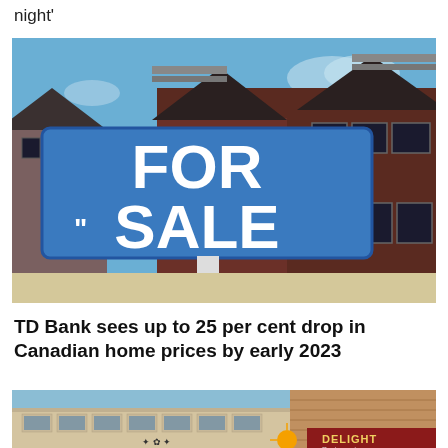night'
[Figure (photo): A blue 'FOR SALE' real estate sign in front of a two-storey brick home under a blue sky.]
TD Bank sees up to 25 per cent drop in Canadian home prices by early 2023
[Figure (photo): Partial view of a commercial building storefront with a 'DELIGHT' restaurant sign visible.]